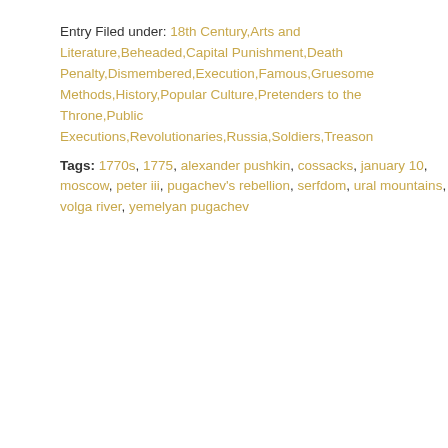Entry Filed under: 18th Century,Arts and Literature,Beheaded,Capital Punishment,Death Penalty,Dismembered,Execution,Famous,Gruesome Methods,History,Popular Culture,Pretenders to the Throne,Public Executions,Revolutionaries,Russia,Soldiers,Treason
Tags: 1770s, 1775, alexander pushkin, cossacks, january 10, moscow, peter iii, pugachev's rebellion, serfdom, ural mountains, volga river, yemelyan pugachev